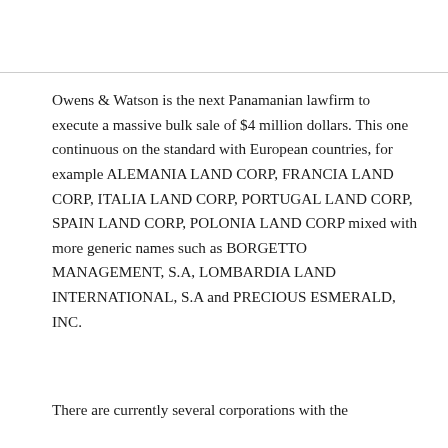Owens & Watson is the next Panamanian lawfirm to execute a massive bulk sale of $4 million dollars. This one continuous on the standard with European countries, for example ALEMANIA LAND CORP, FRANCIA LAND CORP, ITALIA LAND CORP, PORTUGAL LAND CORP, SPAIN LAND CORP, POLONIA LAND CORP mixed with more generic names such as BORGETTO MANAGEMENT, S.A, LOMBARDIA LAND INTERNATIONAL, S.A and PRECIOUS ESMERALD, INC.
There are currently several corporations with the